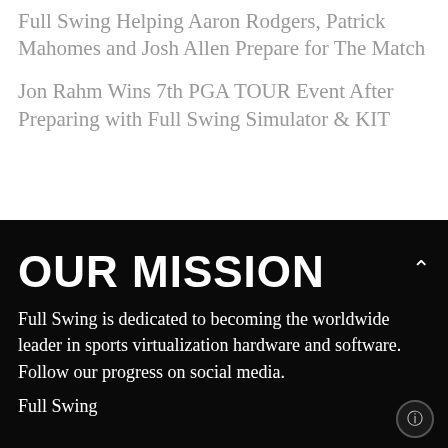Full Swing Helping Aaron Rodgers, Patrick Mahomes and Josh Allen Prepare for The Match
Jon Rahm Wins 7th PGA TOUR Event After Preparing with Full Swing Simulator & KIT
OUR MISSION
Full Swing is dedicated to becoming the worldwide leader in sports virtualization hardware and software. Follow our progress on social media.
Full Swing